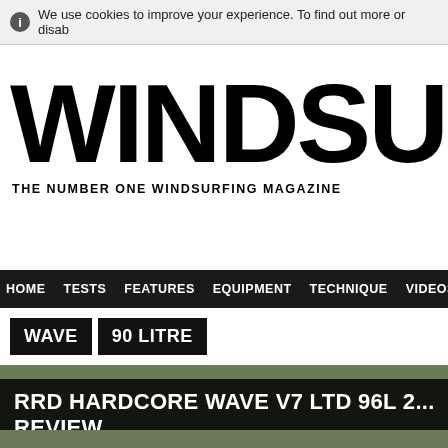We use cookies to improve your experience. To find out more or disab...
WINDSUR
THE NUMBER ONE WINDSURFING MAGAZINE
HOME TESTS FEATURES EQUIPMENT TECHNIQUE VIDEOS TRAVEL
WAVE | 90 LITRE
RRD HARDCORE WAVE V7 LTD 96L 2... REVIEW